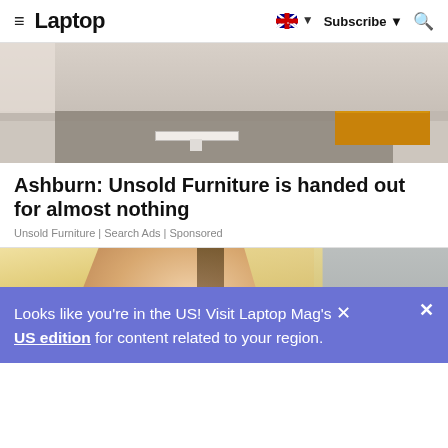≡ Laptop | 🇦🇺 ▼ Subscribe ▼ 🔍
[Figure (photo): Photo of a modern living room with a white marble coffee table, orange sofa, and grey rug on light tile flooring]
Ashburn: Unsold Furniture is handed out for almost nothing
Unsold Furniture | Search Ads | Sponsored
[Figure (photo): Photo of a blonde woman looking at something, with blurred city background on the right]
Looks like you're in the US! Visit Laptop Mag's US edition for content related to your region.